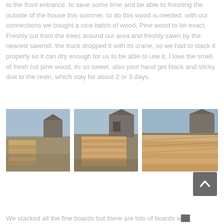to the front entrance. to save some time and be able to finishing the outside of the house this summer. to do this wood is needed, with our connections we bought a nice batch of wood, Pine wood to be exact. Freshly cut from the trees around our area and freshly sawn by the nearest sawmill. the truck dropped it with its crane, so we had to stack it properly so it can dry enough for us to be able to use it. I love the smell of fresh cut pine wood, its so sweet. also your hand get black and sticky due to the resin, which stay for about 2 or 3 days.
[Figure (photo): Stacked pine wood boards in an outdoor field with bare trees and a barn in the background]
[Figure (photo): Large stack of freshly sawn pine boards outdoors near a wooden barn building]
[Figure (photo): Close-up view of stacked pine boards laid flat, drying outdoors near a barn]
We stacked all the fine boards but there are lots of boards w...